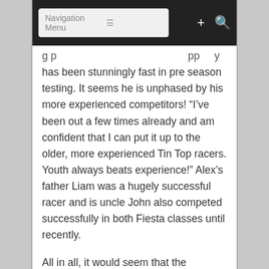Navigation Menu
has been stunningly fast in pre season testing. It seems he is unphased by his more experienced competitors! “I’ve been out a few times already and am confident that I can put it up to the older, more experienced Tin Top racers. Youth always beats experience!” Alex’s father Liam was a hugely successful racer and is uncle John also competed successfully in both Fiesta classes until recently.
All in all, it would seem that the Dennings Cars Fiesta ST Championship will be well worth watching in 2019. As for picking a winner- well it could be any one of a host of eager candidates, so take your pick!
Liam Denning, Dennings Cars “I am delighted to come on board this year and it is great to see big competitive grids. I am too busy with